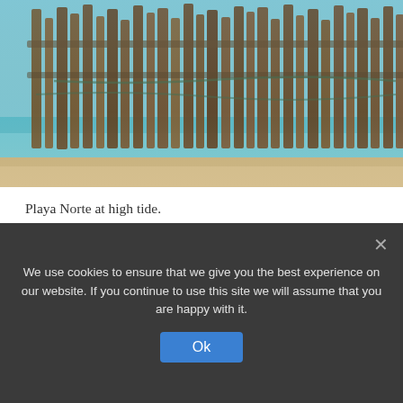[Figure (photo): Beach photo showing a wooden pier/dock structure with stacked logs and poles at the shoreline of Playa Norte, with turquoise shallow water and sandy beach visible.]
Playa Norte at high tide.
The good news is that Playa Norte is a short beach, so you can easily explore it up and down. And if you visit in the morning, you’ll practically have the entire place to yourself.
The water is shallow and calm here, making it a great place to wheel your beach chair right into the water.
We use cookies to ensure that we give you the best experience on our website. If you continue to use this site we will assume that you are happy with it.